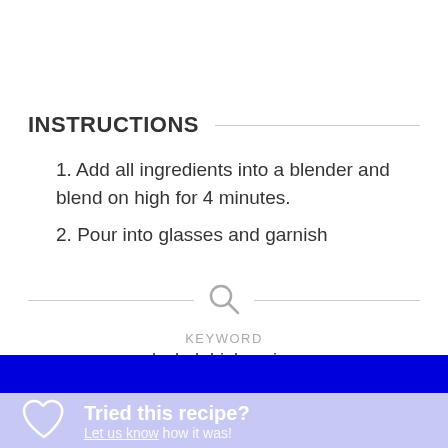INSTRUCTIONS
Add all ingredients into a blender and blend on high for 4 minutes.
Pour into glasses and garnish
KEYWORD
alcohol drink recipes
Tried this recipe?
Let us know how it was!